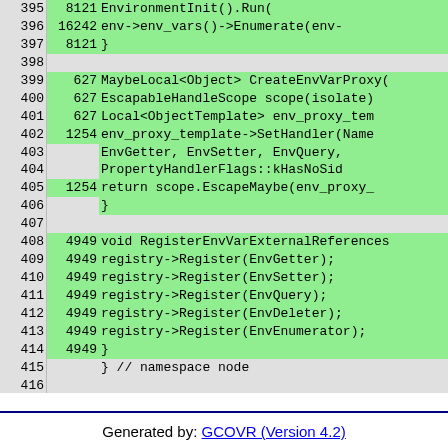| line | count | code |
| --- | --- | --- |
| 395 | 8121 | EnvironmentInit().Run( |
| 396 | 16242 | env->env_vars()->Enumerate(env- |
| 397 | 8121 | } |
| 398 |  |  |
| 399 | 627 | MaybeLocal<Object> CreateEnvVarProxy( |
| 400 | 627 | EscapableHandleScope scope(isolate) |
| 401 | 627 | Local<ObjectTemplate> env_proxy_tem |
| 402 | 1254 | env_proxy_template->SetHandler(Name |
| 403 |  | EnvGetter, EnvSetter, EnvQuery, |
| 404 |  | PropertyHandlerFlags::kHasNoSid |
| 405 | 1254 | return scope.EscapeMaybe(env_proxy_ |
| 406 |  | } |
| 407 |  |  |
| 408 | 4949 | void RegisterEnvVarExternalReferences |
| 409 | 4949 | registry->Register(EnvGetter); |
| 410 | 4949 | registry->Register(EnvSetter); |
| 411 | 4949 | registry->Register(EnvQuery); |
| 412 | 4949 | registry->Register(EnvDeleter); |
| 413 | 4949 | registry->Register(EnvEnumerator); |
| 414 | 4949 | } |
| 415 |  | }  // namespace node |
| 416 |  |  |
| 417 | 4949 | NODE_MODULE_EXTERNAL_REFERENCE(env_va |
Generated by: GCOVR (Version 4.2)